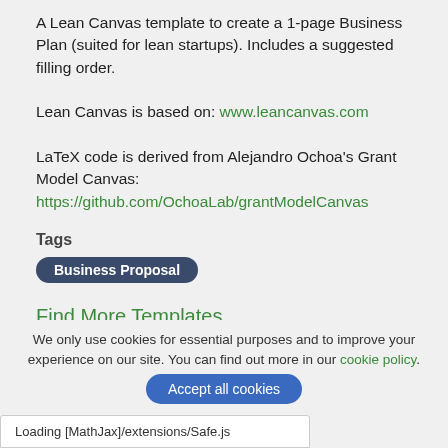A Lean Canvas template to create a 1-page Business Plan (suited for lean startups). Includes a suggested filling order.
Lean Canvas is based on: www.leancanvas.com
LaTeX code is derived from Alejandro Ochoa's Grant Model Canvas: https://github.com/OchoaLab/grantModelCanvas
Tags
Business Proposal
Find More Templates
Lean Canvas
We only use cookies for essential purposes and to improve your experience on our site. You can find out more in our cookie policy.
Loading [MathJax]/extensions/Safe.js